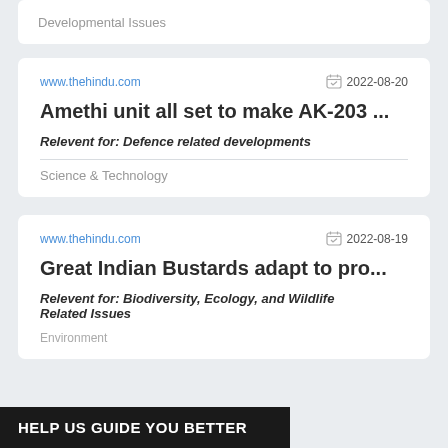Developmental Issues
www.thehindu.com
2022-08-20
Amethi unit all set to make AK-203 ...
Relevent for: Defence related developments
Science & Technology
www.thehindu.com
2022-08-19
Great Indian Bustards adapt to pro...
Relevent for: Biodiversity, Ecology, and Wildlife Related Issues
Environment
HELP US GUIDE YOU BETTER